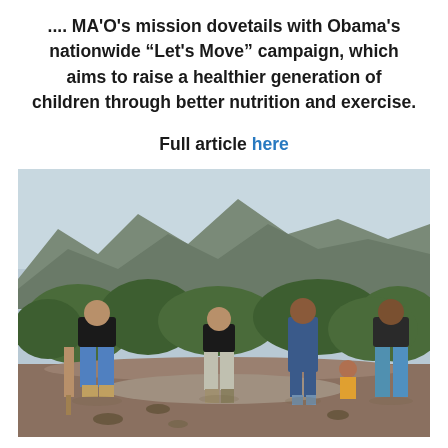.... MA'O's mission dovetails with Obama's nationwide "Let's Move" campaign, which aims to raise a healthier generation of children through better nutrition and exercise.
Full article here
[Figure (photo): Four people walking outdoors on a dirt path with green vegetation and mountains in the background. One woman in a blue dress and three men in dark t-shirts, one holding a tool.]